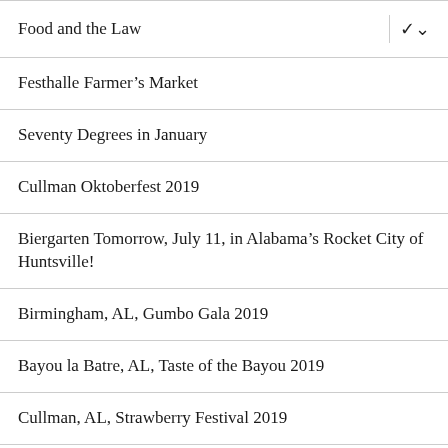Food and the Law
Festhalle Farmer’s Market
Seventy Degrees in January
Cullman Oktoberfest 2019
Biergarten Tomorrow, July 11, in Alabama’s Rocket City of Huntsville!
Birmingham, AL, Gumbo Gala 2019
Bayou la Batre, AL, Taste of the Bayou 2019
Cullman, AL, Strawberry Festival 2019
Oktoberfest, Alabama Style